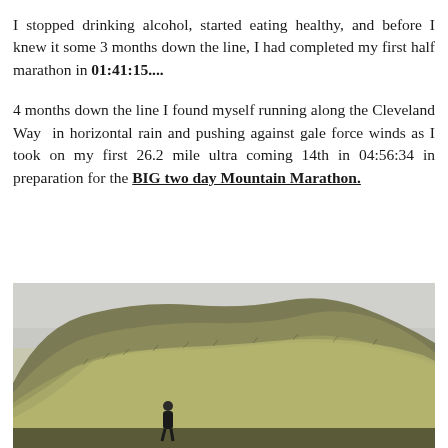I stopped drinking alcohol, started eating healthy, and before I knew it some 3 months down the line, I had completed my first half marathon in 01:41:15....
4 months down the line I found myself running along the Cleveland Way in horizontal rain and pushing against gale force winds as I took on my first 26.2 mile ultra coming 14th in 04:56:34 in preparation for the BIG two day Mountain Marathon.
[Figure (photo): A person running on a hillside trail with dry grass and an overcast grey sky. The hill has a rounded top covered in pale brown and green scrubby vegetation.]